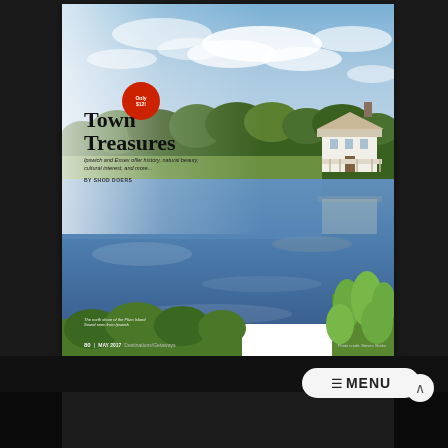[Figure (photo): Magazine article spread showing a scenic New England landscape with salt marsh grasses, a calm reflective tidal river, green reeds, blue cloudy sky, and a white farmhouse with porch on the right side. Text overlay shows article title 'Town Treasures' with subtitle and author credit. A red circular badge appears in upper left of the text area.]
Town Treasures
Ipswich and Essex offer history, natural beauty, cultural interest, and more...
BY SHOD DOERS
The north shore of the Plum Island Sound seen from Ipswich
80 | MAY 2017 | Destinations/Getaways
☰ MENU